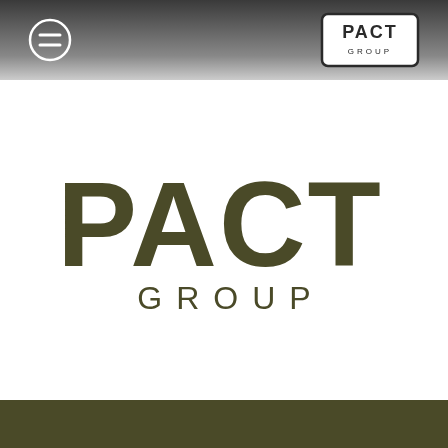[Figure (logo): PACT GROUP header navigation bar with hamburger menu icon on left and PACT GROUP logo mark in top right corner, dark gradient background]
[Figure (logo): Large PACT GROUP logo on white background - PACT in very large bold dark olive/army green letters, GROUP below in smaller spaced letters in matching color]
[Figure (other): Dark olive/army green footer bar at bottom of page]